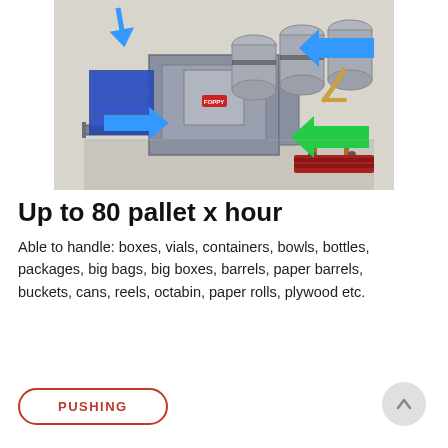[Figure (engineering-diagram): 3D CAD rendering of an industrial pallet handling/pushing machine with blue arrows indicating input directions, a green arrow indicating output direction, cylindrical drums on top, a hand pallet jack on the right, and a red pallet base. Blue arrows point left and upward, green arrow points left at lower right.]
Up to 80 pallet x hour
Able to handle: boxes, vials, containers, bowls, bottles, packages, big bags, big boxes, barrels, paper barrels, buckets, cans, reels, octabin, paper rolls, plywood etc.
PUSHING